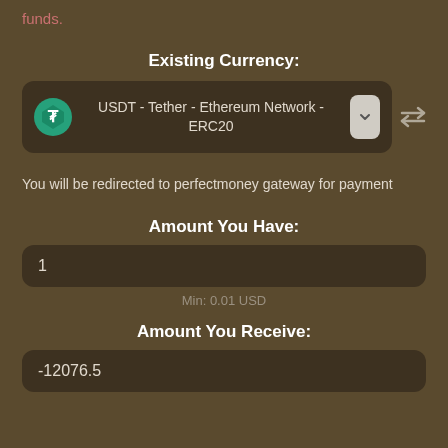funds.
Existing Currency:
[Figure (screenshot): Currency selector dropdown showing USDT - Tether - Ethereum Network - ERC20 with Tether logo, a chevron button, and a switch icon]
You will be redirected to perfectmoney gateway for payment
Amount You Have:
1
Min: 0.01 USD
Amount You Receive:
-12076.5